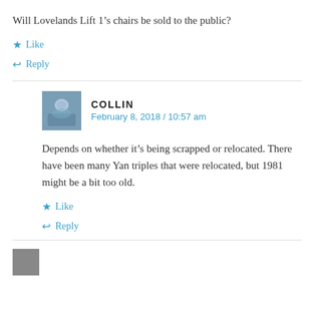Will Lovelands Lift 1’s chairs be sold to the public?
★ Like
↩ Reply
COLLIN
February 8, 2018 / 10:57 am
Depends on whether it’s being scrapped or relocated. There have been many Yan triples that were relocated, but 1981 might be a bit too old.
★ Like
↩ Reply